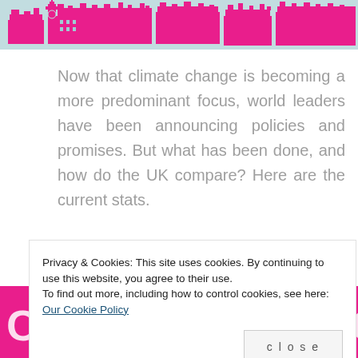[Figure (illustration): Pink and teal illustrated skyline of London / UK Parliament buildings banner at the top of the page]
Now that climate change is becoming a more predominant focus, world leaders have been announcing policies and promises. But what has been done, and how do the UK compare? Here are the current stats.
[Figure (illustration): Pink background section with large white uppercase text beginning 'CLIMATE CHANGE: THE UK...' partially visible]
Privacy & Cookies: This site uses cookies. By continuing to use this website, you agree to their use.
To find out more, including how to control cookies, see here: Our Cookie Policy
close